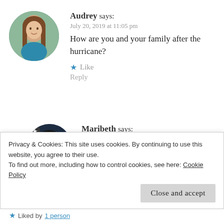[Figure (photo): Circular avatar of Audrey, a young woman with long brown hair wearing a teal top, outdoors background]
Audrey says:
July 20, 2019 at 11:05 pm
How are you and your family after the hurricane?
★ Like
Reply
[Figure (photo): Circular avatar of Maribeth, a woman smiling with dark hair wearing a blue top, dark background, with a star badge]
Maribeth says:
July 21, 2019 at 12:14 am
Thank you so much for asking! We did
Privacy & Cookies: This site uses cookies. By continuing to use this website, you agree to their use.
To find out more, including how to control cookies, see here: Cookie Policy
Close and accept
★ Liked by 1 person